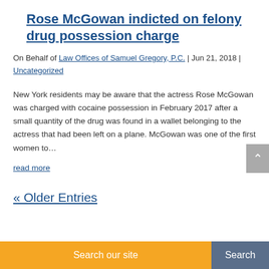Rose McGowan indicted on felony drug possession charge
On Behalf of Law Offices of Samuel Gregory, P.C. | Jun 21, 2018 | Uncategorized
New York residents may be aware that the actress Rose McGowan was charged with cocaine possession in February 2017 after a small quantity of the drug was found in a wallet belonging to the actress that had been left on a plane. McGowan was one of the first women to…
read more
« Older Entries
Search our site  Search